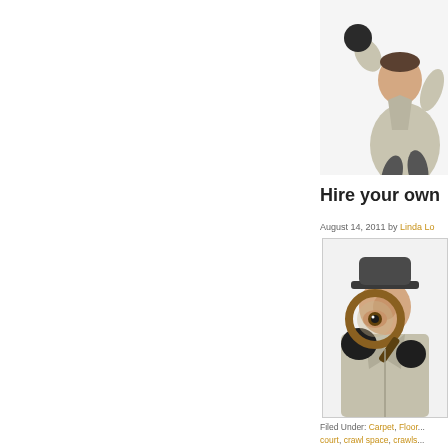[Figure (photo): A detective in a trench coat jumping or leaping, wearing black gloves, cropped at top right of page]
Hire your own...
August 14, 2011 by Linda Lo...
[Figure (photo): A detective in a trench coat and black hat holding a magnifying glass up to one eye, looking through it toward the viewer]
Filed Under: Carpet, Floor...
court, crawl space, crawls...